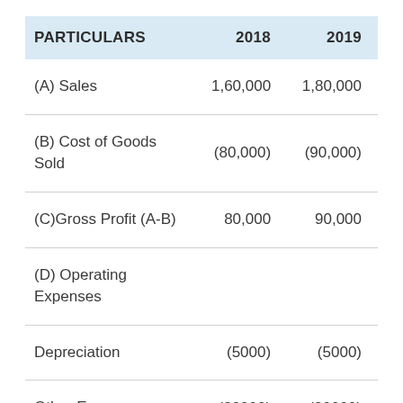| PARTICULARS | 2018 | 2019 |
| --- | --- | --- |
| (A) Sales | 1,60,000 | 1,80,000 |
| (B) Cost of Goods Sold | (80,000) | (90,000) |
| (C)Gross Profit (A-B) | 80,000 | 90,000 |
| (D) Operating Expenses |  |  |
| Depreciation | (5000) | (5000) |
| Other Expenses | (20000) | (20000) |